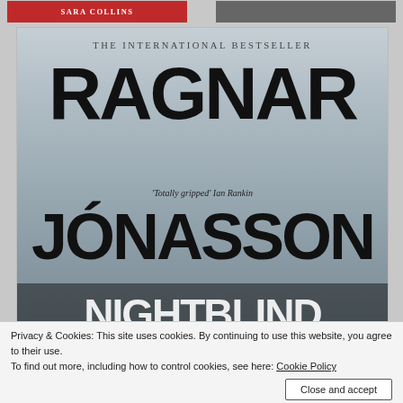[Figure (illustration): Partial book cover top strip showing red banner with author name SARA COLLINS and another book cover on the right, on grey background.]
[Figure (photo): Book cover of an international bestseller by Ragnar Jónasson. Grey cloudy background with large bold black text showing RAGNAR top half, JÓNASSON lower half, a quote 'Totally gripped' Ian Rankin in the middle, and partial book title at bottom. The text THE INTERNATIONAL BESTSELLER appears at the top in smaller letters.]
Privacy & Cookies: This site uses cookies. By continuing to use this website, you agree to their use.
To find out more, including how to control cookies, see here: Cookie Policy
[Figure (photo): Partial image of another book cover visible at the very bottom of the page.]